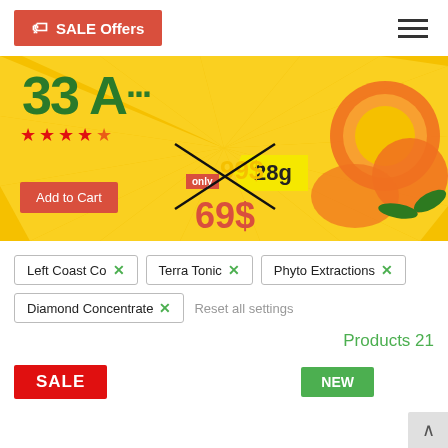SALE Offers
[Figure (photo): Promotional banner for cannabis product sale: yellow sunray background with cannabis buds, oranges, stars, Add to Cart button, crossed out price tag '99$', new price '69$', weight '28g', text '33 A...']
Left Coast Co ✕
Terra Tonic ✕
Phyto Extractions ✕
Diamond Concentrate ✕
Reset all settings
Products 21
SALE
NEW